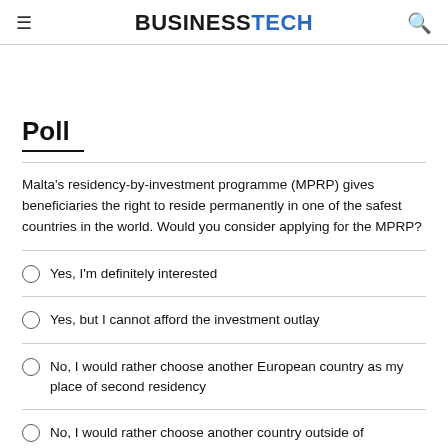BUSINESSTECH
Poll
Malta's residency-by-investment programme (MPRP) gives beneficiaries the right to reside permanently in one of the safest countries in the world. Would you consider applying for the MPRP?
Yes, I'm definitely interested
Yes, but I cannot afford the investment outlay
No, I would rather choose another European country as my place of second residency
No, I would rather choose another country outside of